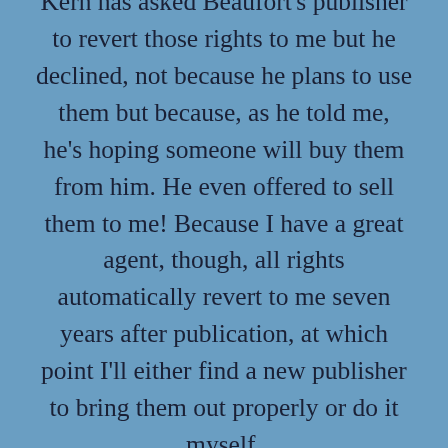Kern has asked Beaufort's publisher to revert those rights to me but he declined, not because he plans to use them but because, as he told me, he's hoping someone will buy them from him. He even offered to sell them to me! Because I have a great agent, though, all rights automatically revert to me seven years after publication, at which point I'll either find a new publisher to bring them out properly or do it myself.